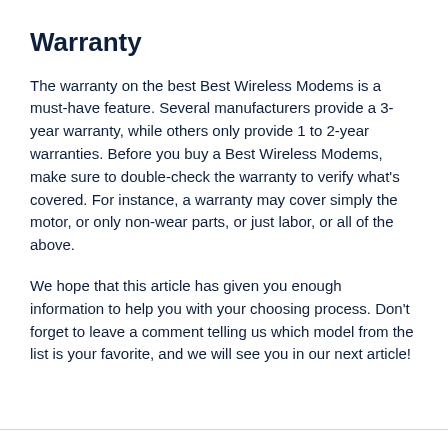Warranty
The warranty on the best Best Wireless Modems is a must-have feature. Several manufacturers provide a 3-year warranty, while others only provide 1 to 2-year warranties. Before you buy a Best Wireless Modems, make sure to double-check the warranty to verify what's covered. For instance, a warranty may cover simply the motor, or only non-wear parts, or just labor, or all of the above.
We hope that this article has given you enough information to help you with your choosing process. Don't forget to leave a comment telling us which model from the list is your favorite, and we will see you in our next article!